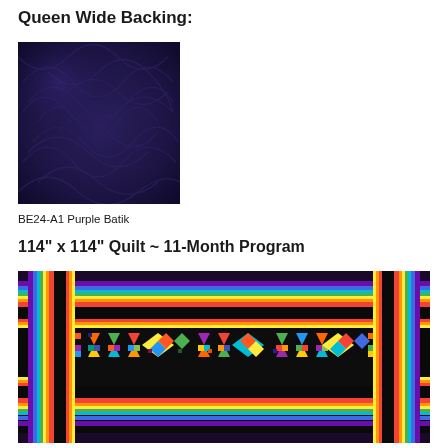Queen Wide Backing:
[Figure (photo): Close-up photo of dark purple batik fabric with swirling texture pattern]
BE24-A1 Purple Batik
114" x 114" Quilt ~ 11-Month Program
[Figure (photo): Colorful quilt with geometric star and triangle patterns in rainbow colors on a dark black background, with rainbow-striped border]